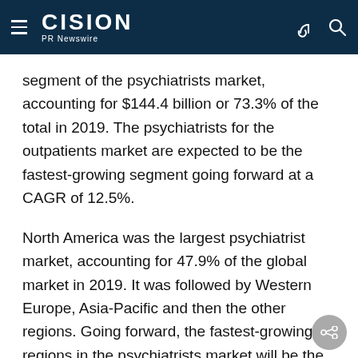CISION PR Newswire
segment of the psychiatrists market, accounting for $144.4 billion or 73.3% of the total in 2019. The psychiatrists for the outpatients market are expected to be the fastest-growing segment going forward at a CAGR of 12.5%.
North America was the largest psychiatrist market, accounting for 47.9% of the global market in 2019. It was followed by Western Europe, Asia-Pacific and then the other regions. Going forward, the fastest-growing regions in the psychiatrists market will be the Middle East and Africa, where growth will be at CAGRs of 11.8% and 11.2% respectively. These will be followed by Asia-Pacific and Eastern Europe, where